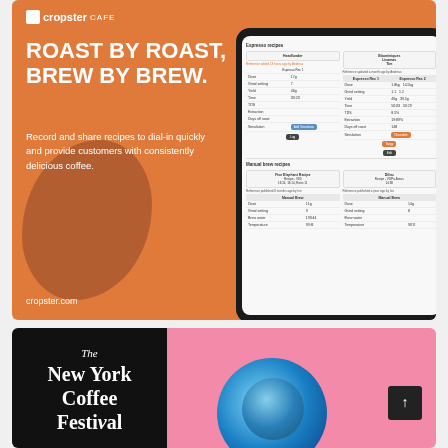[Figure (screenshot): Cropster Cafe advertisement with orange background, headline 'ROAST BY ROAST, BREW BY BREW.', descriptive text, and a tablet showing espresso recipe and manual brew recipe screens. URL cropster.com shown.]
[Figure (infographic): The New York Coffee Festival advertisement with black and pink background, blue circular logo on right, and a dark square scroll-up button.]